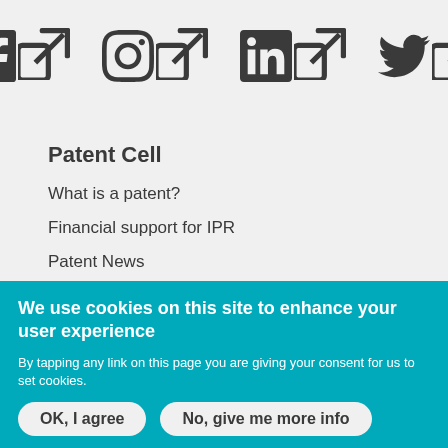[Figure (logo): Social media icons: Facebook, Instagram, LinkedIn, Twitter, each with an external link indicator]
Patent Cell
What is a patent?
Financial support for IPR
Patent News
Standardisation
We use cookies on this site to enhance your user experience
By tapping any link on this page you are giving your consent for us to set cookies.
OK, I agree   No, give me more info